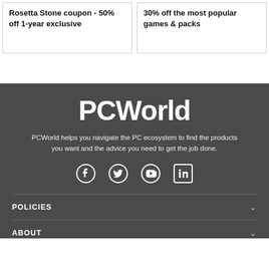Rosetta Stone coupon - 50% off 1-year exclusive
30% off the most popular games & packs
PCWorld
PCWorld helps you navigate the PC ecosystem to find the products you want and the advice you need to get the job done.
[Figure (infographic): Social media icons: Facebook, Twitter, YouTube, LinkedIn]
POLICIES
ABOUT